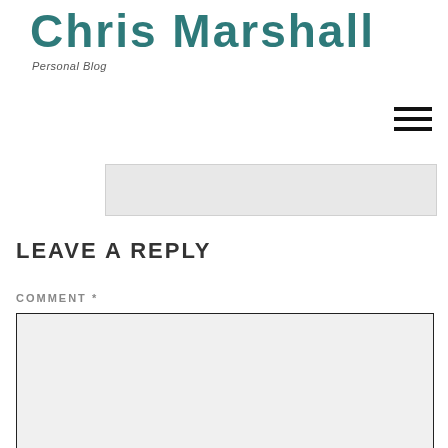Chris Marshall — Personal Blog
[Figure (screenshot): Partial image strip showing a greyed out content area]
LEAVE A REPLY
COMMENT *
[Figure (screenshot): Comment text area input field with light grey background]